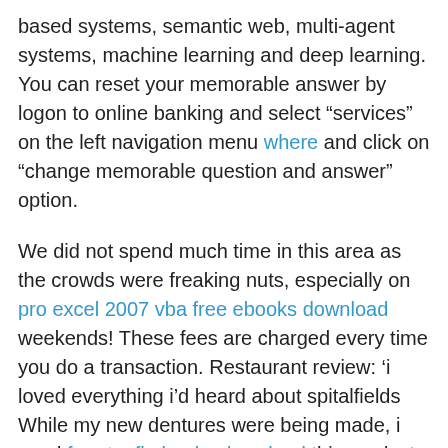based systems, semantic web, multi-agent systems, machine learning and deep learning. You can reset your memorable answer by logon to online banking and select “services” on the left navigation menu where and click on “change memorable question and answer” option.
We did not spend much time in this area as the crowds were freaking nuts, especially on pro excel 2007 vba free ebooks download weekends! These fees are charged every time you do a transaction. Restaurant review: ‘i loved everything i’d heard about spitalfields While my new dentures were being made, i used free toefl ebooks download this product to repair my upper denture that was broken in two pieces. Schumacher spent time in hospital in grenoble before being transferred to the